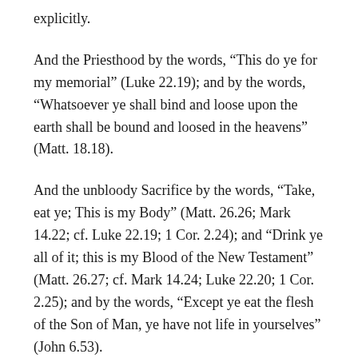explicitly.
And the Priesthood by the words, “This do ye for my memorial” (Luke 22.19); and by the words, “Whatsoever ye shall bind and loose upon the earth shall be bound and loosed in the heavens” (Matt. 18.18).
And the unbloody Sacrifice by the words, “Take, eat ye; This is my Body” (Matt. 26.26; Mark 14.22; cf. Luke 22.19; 1 Cor. 2.24); and “Drink ye all of it; this is my Blood of the New Testament” (Matt. 26.27; cf. Mark 14.24; Luke 22.20; 1 Cor. 2.25); and by the words, “Except ye eat the flesh of the Son of Man, ye have not life in yourselves” (John 6.53).